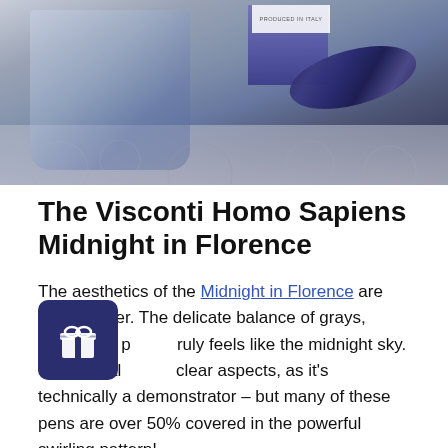[Figure (photo): Photo of a Visconti Homo Sapiens Midnight in Florence fountain pen and ink bottle on a decorative surface, showing deep blue and purple swirling patterns on the pen body alongside the ink bottle and packaging box.]
The Visconti Homo Sapiens Midnight in Florence
The aesthetics of the Midnight in Florence are like no other. The delicate balance of grays, blues, and p[urples] truly feels like the midnight sky. This pen al[so has] clear aspects, as it's technically a demonstrator – but many of these pens are over 50% covered in the powerful swirling pattern!